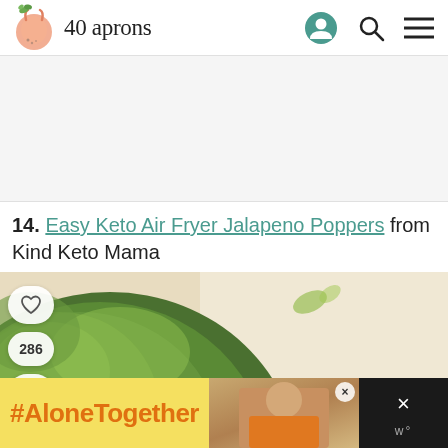40 aprons
[Figure (other): Advertisement banner area (blank/white space)]
14. Easy Keto Air Fryer Jalapeno Poppers from Kind Keto Mama
[Figure (photo): Close-up photo of a bowl filled with fresh green herbs (parsley or cilantro) on a light beige background, with social buttons (heart, count 286, share) on the left side]
[Figure (other): Bottom advertisement banner: #AloneTogether text on yellow background with a woman photo and a dark close button area]